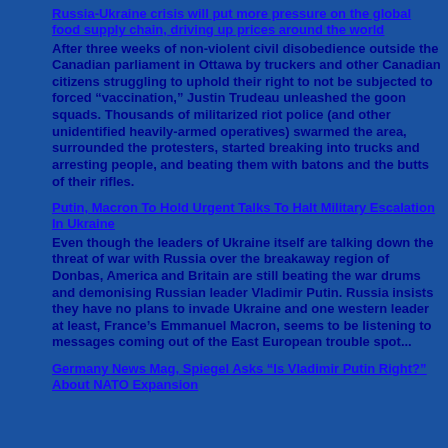Russia-Ukraine crisis will put more pressure on the global food supply chain, driving up prices around the world
After three weeks of non-violent civil disobedience outside the Canadian parliament in Ottawa by truckers and other Canadian citizens struggling to uphold their right to not be subjected to forced “vaccination,” Justin Trudeau unleashed the goon squads. Thousands of militarized riot police (and other unidentified heavily-armed operatives) swarmed the area, surrounded the protesters, started breaking into trucks and arresting people, and beating them with batons and the butts of their rifles.
Putin, Macron To Hold Urgent Talks To Halt Military Escalation In Ukraine
Even though the leaders of Ukraine itself are talking down the threat of war with Russia over the breakaway region of Donbas, America and Britain are still beating the war drums and demonising Russian leader Vladimir Putin. Russia insists they have no plans to invade Ukraine and one western leader at least, France’s Emmanuel Macron, seems to be listening to messages coming out of the East European trouble spot...
Germany News Mag, Spiegel Asks “Is Vladimir Putin Right?” About NATO Expansion